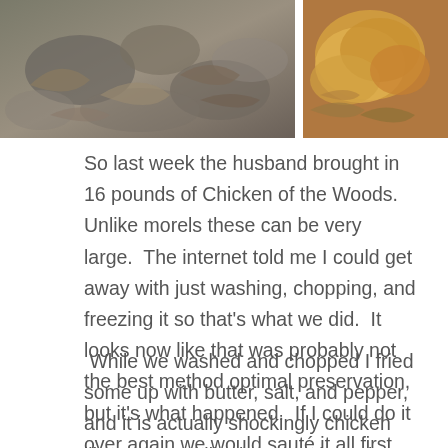[Figure (photo): Two photos side by side: left shows rocks and dead leaves on ground; right shows orange/tan fungus (Chicken of the Woods) among leaves.]
So last week the husband brought in 16 pounds of Chicken of the Woods.  Unlike morels these can be very large.  The internet told me I could get away with just washing, chopping, and freezing it so that's what we did.  It looks now like that was probably not the best method optimal preservation, but it's what happened.  If I could do it over again we would sauté it all first and then freeze.
While we washed and chopped I fried some up with butter, salt, and pepper, and it is actually shockingly chicken like.  It tasted like butter, salt, and pepper (in other words pleasantly mild), and was white and